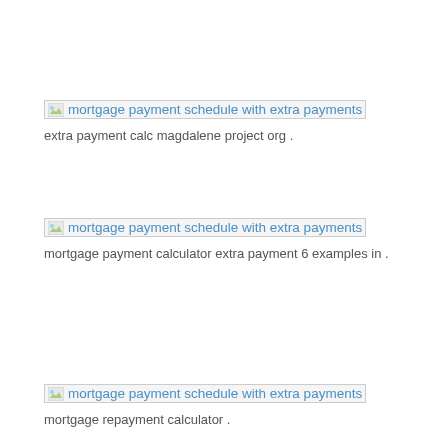[Figure (other): Broken image placeholder with link text: mortgage payment schedule with extra payments]
extra payment calc magdalene project org .
[Figure (other): Broken image placeholder with link text: mortgage payment schedule with extra payments]
mortgage payment calculator extra payment 6 examples in .
[Figure (other): Broken image placeholder with link text: mortgage payment schedule with extra payments]
mortgage repayment calculator .